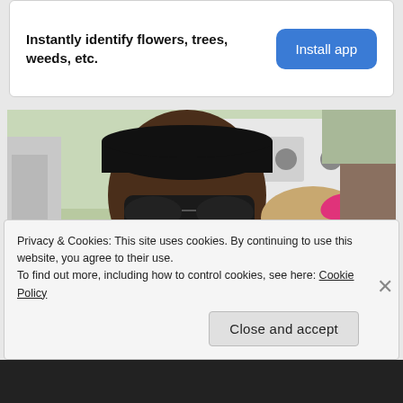Instantly identify flowers, trees, weeds, etc.
Install app
[Figure (photo): A man wearing sunglasses and a black cap smiling with a young girl who has a pink bow in her hair. They appear to be near a vehicle outdoors.]
Privacy & Cookies: This site uses cookies. By continuing to use this website, you agree to their use.
To find out more, including how to control cookies, see here: Cookie Policy
Close and accept